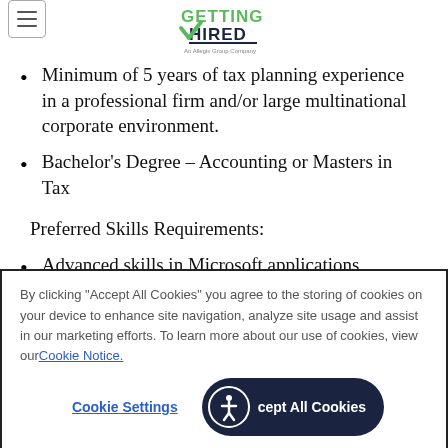[Figure (logo): Getting Hired logo - An Allegis Group Company]
Minimum of 5 years of tax planning experience in a professional firm and/or large multinational corporate environment.
Bachelor's Degree – Accounting or Masters in Tax
Preferred Skills Requirements:
Advanced skills in Microsoft applications specifically Excel, SharePoint, and Access.
By clicking "Accept All Cookies" you agree to the storing of cookies on your device to enhance site navigation, analyze site usage and assist in our marketing efforts. To learn more about our use of cookies, view our Cookie Notice.